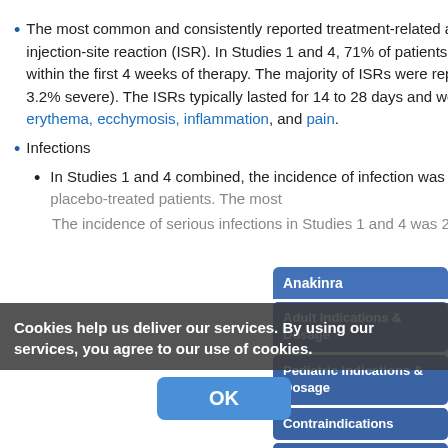The most common and consistently reported treatment-related adverse event associated with Kineret is injection-site reaction (ISR). In Studies 1 and 4, 71% of patients developed an ISR, which was typically reported within the first 4 weeks of therapy. The majority of ISRs were reported as mild (72.6% mild, 24.1% moderate and 3.2% severe). The ISRs typically lasted for 14 to 28 days and were characterized by 1 or more of the following: erythema, ecchymosis, inflammation, and pain.
Infections
In Studies 1 and 4 combined, the incidence of infection was 39% in the Kineret-treated patients and 37% in placebo-treated patients...
The incidence of serious infections in Studies 1 and 4 was 2% in Kineret-treated patients...
Sidebar navigation: Anakinra, Adult Indications & Dosage, Pediatric Indications & Dosage, Contraindications, Warnings & ..., Adverse Reactions, Drug Interactions
Cookie banner: Cookies help us deliver our services. By using our services, you agree to our use of cookies. [OK]